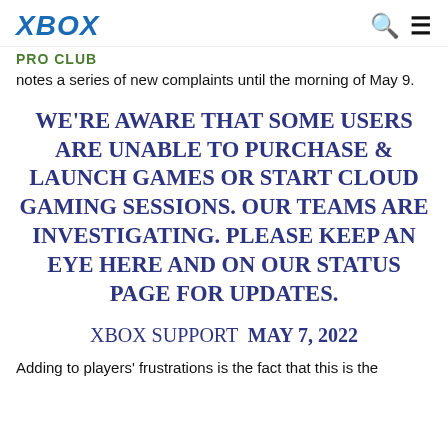XBOX
PRO CLUB
notes a series of new complaints until the morning of May 9.
WE'RE AWARE THAT SOME USERS ARE UNABLE TO PURCHASE & LAUNCH GAMES OR START CLOUD GAMING SESSIONS. OUR TEAMS ARE INVESTIGATING. PLEASE KEEP AN EYE HERE AND ON OUR STATUS PAGE FOR UPDATES.
XBOX SUPPORT  MAY 7, 2022
Adding to players' frustrations is the fact that this is the